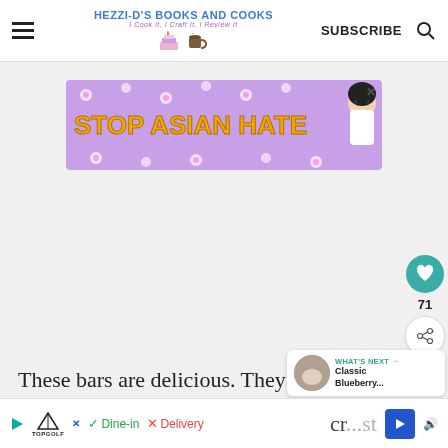HEZZI-D'S BOOKS AND COOKS | SUBSCRIBE
[Figure (screenshot): Stop Asian Hate advertisement banner with purple background, orange bold text 'STOP ASIAN HATE', floral decorations and anime-style character]
[Figure (infographic): Sidebar social buttons: teal heart button and share button, count 71]
[Figure (screenshot): What's Next card showing Classic Blueberry... with thumbnail]
These bars are delicious. They are b... cr...st
[Figure (screenshot): Bottom ad bar: Topgolf logo, Dine-in checkmark, X Delivery, navigation arrow icon]